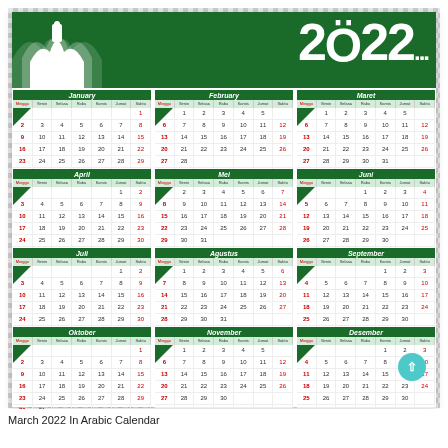[Figure (illustration): 2022 Islamic/Arabic calendar with mosque silhouette in green header, showing all 12 months in Indonesian language]
March 2022 In Arabic Calendar